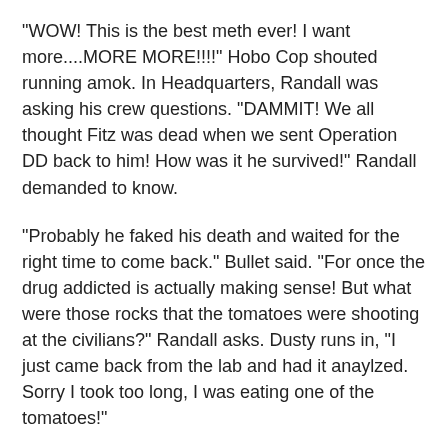"WOW! This is the best meth ever! I want more....MORE MORE!!!!" Hobo Cop shouted running amok. In Headquarters, Randall was asking his crew questions. "DAMMIT! We all thought Fitz was dead when we sent Operation DD back to him! How was it he survived!" Randall demanded to know.
"Probably he faked his death and waited for the right time to come back." Bullet said. "For once the drug addicted is actually making sense! But what were those rocks that the tomatoes were shooting at the civilians?" Randall asks. Dusty runs in, "I just came back from the lab and had it anaylzed. Sorry I took too long, I was eating one of the tomatoes!"
Randall swipes the report out of Dusty's hand, "Good thinking on your part, Dusty! HOLY FUCK! MARIJUANA METH!" "Looks like the Kingpin strikes again. Just like